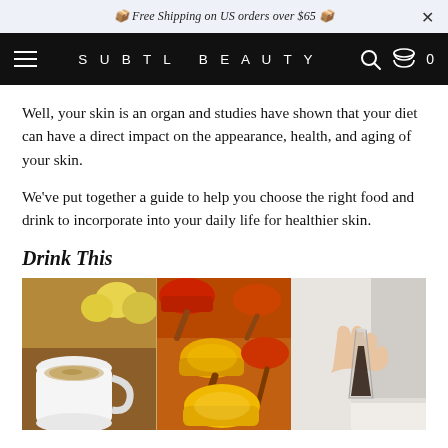📦 Free Shipping on US orders over $65 📦
SUBTL BEAUTY
Well, your skin is an organ and studies have shown that your diet can have a direct impact on the appearance, health, and aging of your skin.
We've put together a guide to help you choose the right food and drink to incorporate into your daily life for healthier skin.
Drink This
[Figure (photo): Three side-by-side photos: left shows a white cup of tea/herbal drink with lemons, middle shows wooden spoons with various colored spice powders (turmeric, paprika), right shows a hand holding a glass of dark liquid (coffee or tea) with a book.]